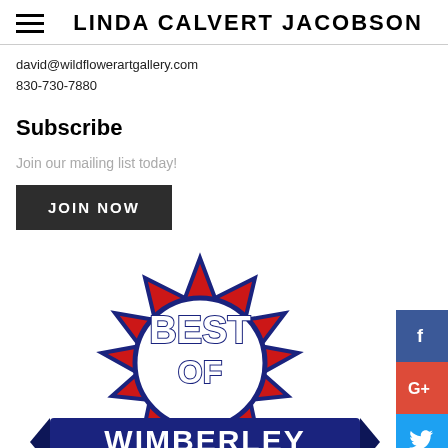LINDA CALVERT JACOBSON
david@wildflowerartgallery.com
830-730-7880
Subscribe
Join our mailing list today!
JOIN NOW
[Figure (logo): Best of Wimberley badge/logo with red starburst, blue banner reading WIMBERLEY]
[Figure (infographic): Social media share buttons: Facebook (blue), Google+ (red), Twitter (blue), LinkedIn (blue), Email (red)]